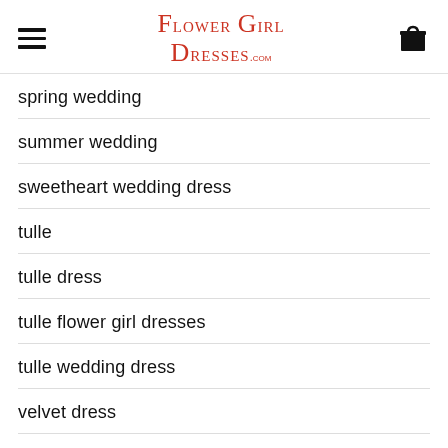Flower Girl Dresses .com
spring wedding
summer wedding
sweetheart wedding dress
tulle
tulle dress
tulle flower girl dresses
tulle wedding dress
velvet dress
wedding